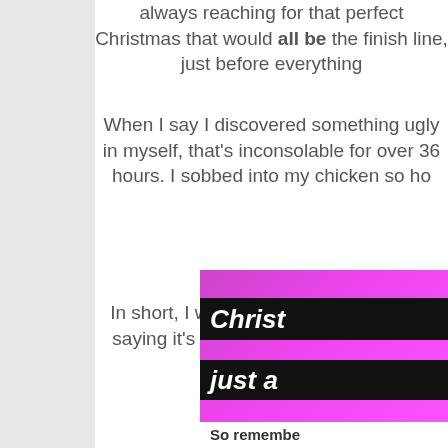always reaching for that perfect Christmas that would all be the finish line, just before everything
When I say I discovered something ugly in myself, that's inconsolable for over 36 hours. I sobbed into my chicken so ho
In short, I was being ridiculous. I'm not saying it's wrong to fee to DO with the sad. I had no pr
So no
In my better moments, in between the sobbing and sneezing a something redeemable in every situation, no matter how awful the same place th
[Figure (other): Book or product cover image with pink/magenta gradient background. Contains black bars with white italic bold text reading 'Christ' and 'just a' and a white bar at bottom with text 'So remembe']